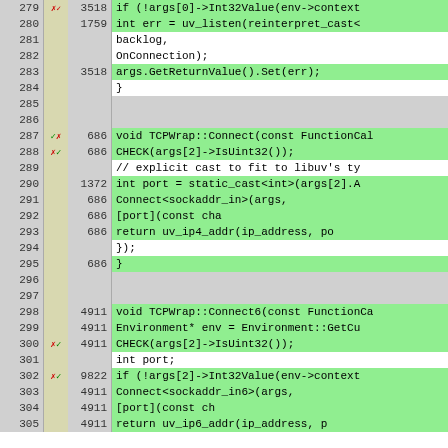[Figure (screenshot): Code coverage viewer showing C++ source lines 279-305 with line numbers, hit counts, coverage markers, and green-highlighted covered code. Lines include TCPWrap::Connect and TCPWrap::Connect6 function bodies.]